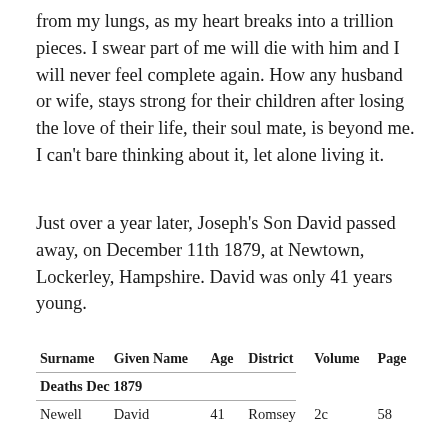from my lungs, as my heart breaks into a trillion pieces. I swear part of me will die with him and I will never feel complete again. How any husband or wife, stays strong for their children after losing the love of their life, their soul mate, is beyond me. I can't bare thinking about it, let alone living it.
Just over a year later, Joseph's Son David passed away, on December 11th 1879, at Newtown, Lockerley, Hampshire. David was only 41 years young.
| Surname | Given Name | Age | District | Volume | Page |
| --- | --- | --- | --- | --- | --- |
| Deaths Dec 1879 |  |  |  |  |  |
| Newell | David | 41 | Romsey | 2c | 58 |